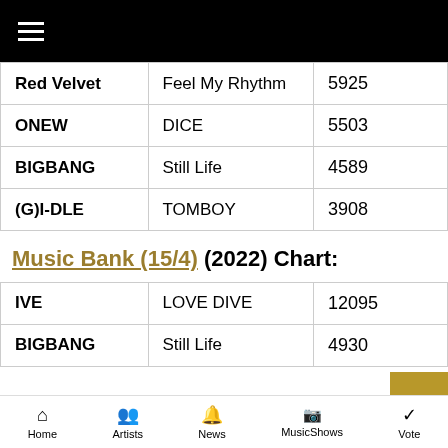≡ (hamburger menu)
| Artist | Song | Score |
| --- | --- | --- |
| Red Velvet | Feel My Rhythm | 5925 |
| ONEW | DICE | 5503 |
| BIGBANG | Still Life | 4589 |
| (G)I-DLE | TOMBOY | 3908 |
Music Bank (15/4) (2022) Chart:
| Artist | Song | Score |
| --- | --- | --- |
| IVE | LOVE DIVE | 12095 |
| BIGBANG | Still Life | 4930 |
Home  Artists  News  MusicShows  Vote